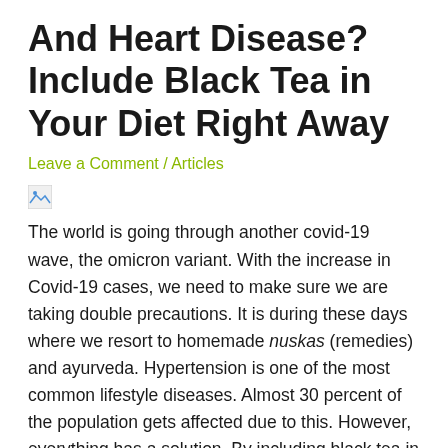And Heart Disease? Include Black Tea in Your Diet Right Away
Leave a Comment / Articles
[Figure (photo): Broken/missing image placeholder]
The world is going through another covid-19 wave, the omicron variant. With the increase in Covid-19 cases, we need to make sure we are taking double precautions. It is during these days where we resort to homemade nuskas (remedies) and ayurveda. Hypertension is one of the most common lifestyle diseases. Almost 30 percent of the population gets affected due to this. However, everything has a solution. By including black tea in your diet, you can keep toxins that aggravate hypertension at bay.Also Read – Study Reveals How Eating Vegetables Does Not Protect You From Cardiovascular Diseases